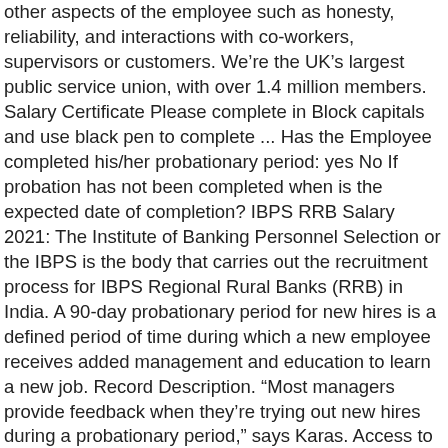other aspects of the employee such as honesty, reliability, and interactions with co-workers, supervisors or customers. We’re the UK’s largest public service union, with over 1.4 million members. Salary Certificate Please complete in Block capitals and use black pen to complete ... Has the Employee completed his/her probationary period: yes No If probation has not been completed when is the expected date of completion? IBPS RRB Salary 2021: The Institute of Banking Personnel Selection or the IBPS is the body that carries out the recruitment process for IBPS Regional Rural Banks (RRB) in India. A 90-day probationary period for new hires is a defined period of time during which a new employee receives added management and education to learn a new job. Record Description. “Most managers provide feedback when they’re trying out new hires during a probationary period,” says Karas. Access to Personnel RecordsElectronic Funds TransferModified Agency ShopRetirementAccess to Work LocationsEmployee RightsNon DiscriminationSalary AdjustmentsAdministrative LeaveEquity ... 7th Pay Commission latest news: Salary up to Rs 1.42 lakh plus DA, HRA; check this 7th CPC central government job offer at upsconline.gov.in 7th Pay Commission latest news today: The Union Public Service Commission (UPSC) has issued a central